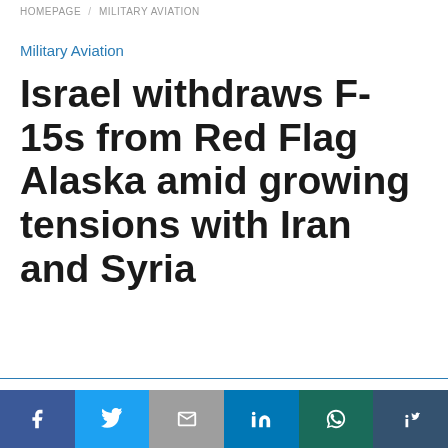HOMEPAGE / MILITARY AVIATION
Military Aviation
Israel withdraws F-15s from Red Flag Alaska amid growing tensions with Iran and Syria
This website uses cookies.
Accept